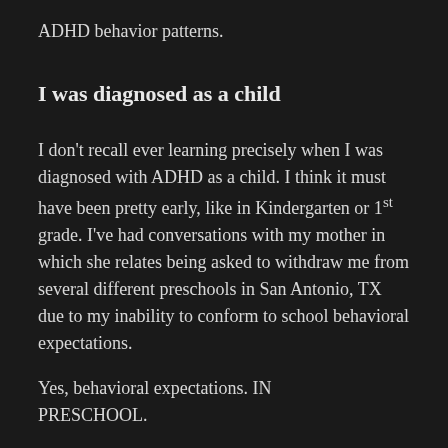ADHD behavior patterns.
I was diagnosed as a child
I don’t recall ever learning precisely when I was diagnosed with ADHD as a child. I think it must have been pretty early, like in Kindergarten or 1st grade. I’ve had conversations with my mother in which she relates being asked to withdraw me from several different preschools in San Antonio, TX due to my inability to conform to school behavioral expectations.
Yes, behavioral expectations. IN PRESCHOOL.